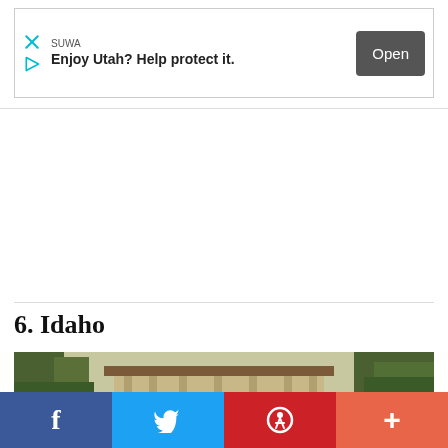[Figure (screenshot): Advertisement banner for SUWA reading 'Enjoy Utah? Help protect it.' with an Open button]
6. Idaho
[Figure (photo): Outdoor photo of a building with a covered porch/pavilion surrounded by trees in Idaho]
[Figure (infographic): Social media share bar with Facebook, Twitter, Pinterest, and More buttons]